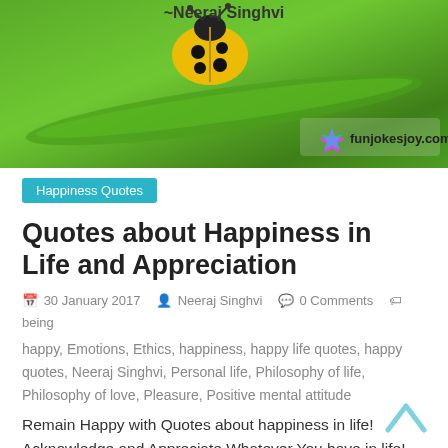[Figure (photo): Banner image with a yellow ladybug on a green leaf background, with text '~Neeraj Singhvi' and funjokesjoy.com logo]
Happiness Quotes
Quotes about Happiness in Life and Appreciation
30 January 2017   Neeraj Singhvi   0 Comments   being happy, Emotions, Ethics, happiness, happy life quotes, happy quotes, Neeraj Singhvi, Personal life, Philosophy of life, Philosophy of love, Pleasure, Positive mental attitude
Remain Happy with Quotes about happiness in life! Acknowledge and Appreciate Whatever You have in life! Be Happy ~Neeraj Singhvi
Read more